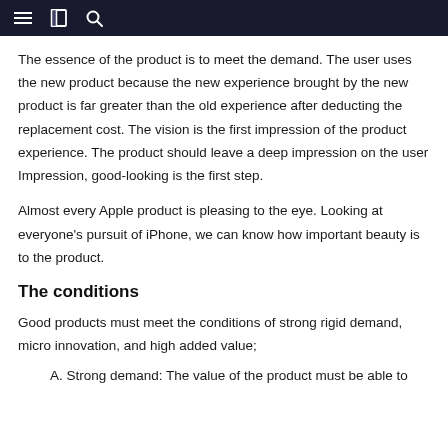Navigation bar with menu, book, and search icons
The essence of the product is to meet the demand. The user uses the new product because the new experience brought by the new product is far greater than the old experience after deducting the replacement cost. The vision is the first impression of the product experience. The product should leave a deep impression on the user Impression, good-looking is the first step.
Almost every Apple product is pleasing to the eye. Looking at everyone’s pursuit of iPhone, we can know how important beauty is to the product.
The conditions
Good products must meet the conditions of strong rigid demand, micro innovation, and high added value;
A. Strong demand: The value of the product must be able to